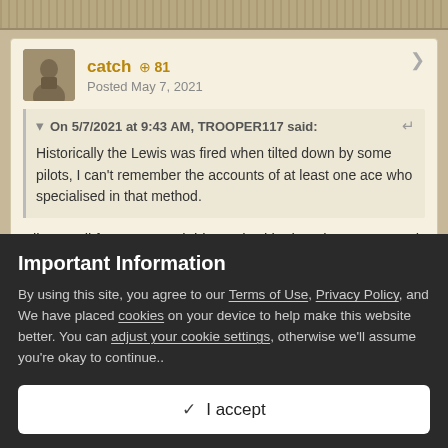catch • 81
Posted May 7, 2021
On 5/7/2021 at 9:43 AM, TROOPER117 said:
Historically the Lewis was fired when tilted down by some pilots, I can't remember the accounts of at least one ace who specialised in that method.
Albert Ball for one. Used this method in the Nieuport 17 and I think
Important Information
By using this site, you agree to our Terms of Use, Privacy Policy, and We have placed cookies on your device to help make this website better. You can adjust your cookie settings, otherwise we'll assume you're okay to continue..
✓  I accept